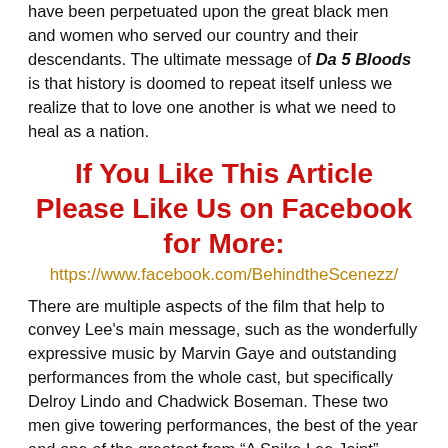have been perpetuated upon the great black men and women who served our country and their descendants. The ultimate message of Da 5 Bloods is that history is doomed to repeat itself unless we realize that to love one another is what we need to heal as a nation.
If You Like This Article Please Like Us on Facebook for More:
https://www.facebook.com/BehindtheScenezz/
There are multiple aspects of the film that help to convey Lee's main message, such as the wonderfully expressive music by Marvin Gaye and outstanding performances from the whole cast, but specifically Delroy Lindo and Chadwick Boseman. These two men give towering performances, the best of the year and one of the greatest from “A Spike Lee Joint”.
There is a pivotal scene towards the end of the film where Lindo has a vision of Stormin’ Norman, who forgives him for accidentally shooting him during the war and powerfully